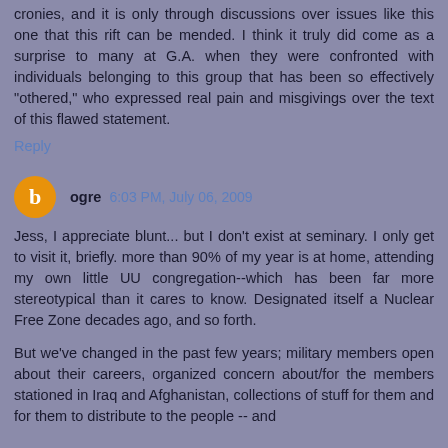cronies, and it is only through discussions over issues like this one that this rift can be mended. I think it truly did come as a surprise to many at G.A. when they were confronted with individuals belonging to this group that has been so effectively "othered," who expressed real pain and misgivings over the text of this flawed statement.
Reply
ogre 6:03 PM, July 06, 2009
Jess, I appreciate blunt... but I don't exist at seminary. I only get to visit it, briefly. more than 90% of my year is at home, attending my own little UU congregation--which has been far more stereotypical than it cares to know. Designated itself a Nuclear Free Zone decades ago, and so forth.
But we've changed in the past few years; military members open about their careers, organized concern about/for the members stationed in Iraq and Afghanistan, collections of stuff for them and for them to distribute to the people -- and